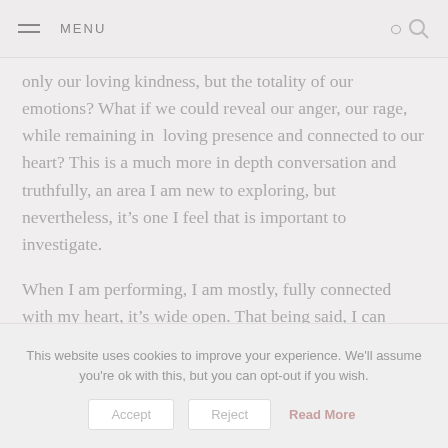MENU
only our loving kindness, but the totality of our emotions? What if we could reveal our anger, our rage, while remaining in  loving presence and connected to our heart? This is a much more in depth conversation and truthfully, an area I am new to exploring, but nevertheless, it's one I feel that is important to investigate.
When I am performing, I am mostly, fully connected with my heart, it's wide open. That being said, I can
This website uses cookies to improve your experience. We'll assume you're ok with this, but you can opt-out if you wish.